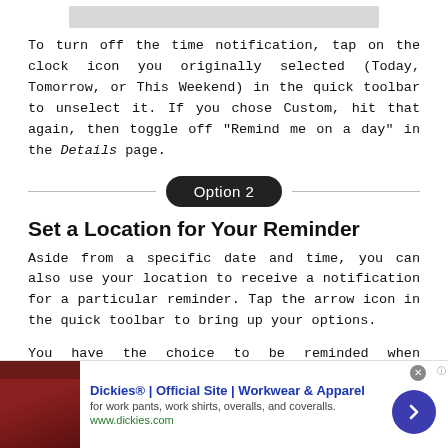[Figure (screenshot): Gray image bar at top of page]
To turn off the time notification, tap on the clock icon you originally selected (Today, Tomorrow, or This Weekend) in the quick toolbar to unselect it. If you chose Custom, hit that again, then toggle off "Remind me on a day" in the Details page.
Option 2
Set a Location for Your Reminder
Aside from a specific date and time, you can also use your location to receive a notification for a particular reminder. Tap the arrow icon in the quick toolbar to bring up your options.
You have the choice to be reminded when "Arriving Home" (location pulled from Apple Maps, and only if you have a home
[Figure (screenshot): Advertisement banner: Dickies® | Official Site | Workwear & Apparel. For work pants, work shirts, overalls, and coveralls. www.dickies.com]